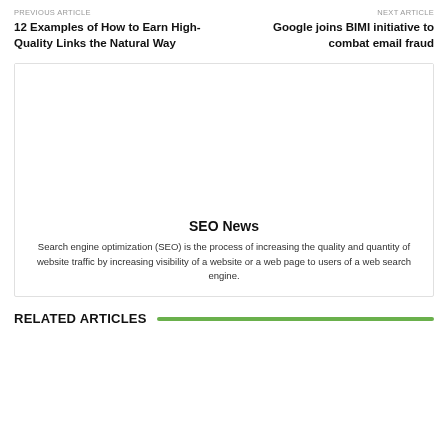PREVIOUS ARTICLE
12 Examples of How to Earn High-Quality Links the Natural Way
NEXT ARTICLE
Google joins BIMI initiative to combat email fraud
[Figure (other): Card box with SEO News title and description text]
SEO News
Search engine optimization (SEO) is the process of increasing the quality and quantity of website traffic by increasing visibility of a website or a web page to users of a web search engine.
RELATED ARTICLES